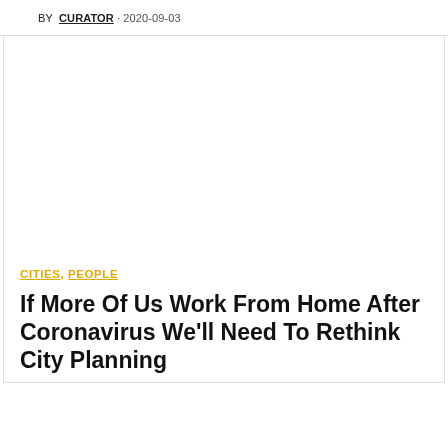BY CURATOR · 2020-09-03
[Figure (photo): Large image placeholder — white/blank area for an article hero image]
CITIES, PEOPLE
If More Of Us Work From Home After Coronavirus We'll Need To Rethink City Planning
Article excerpt text (partially visible at bottom)